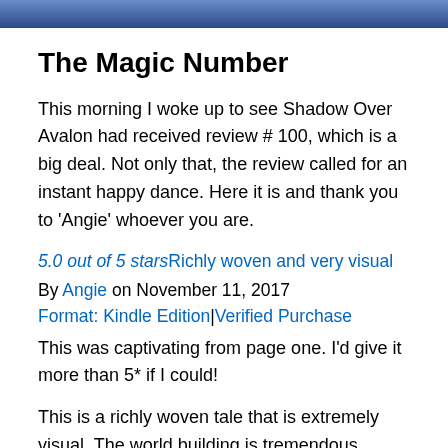[Figure (photo): Partial view of a dark blue/purple banner or cover image at the top of the page]
The Magic Number
This morning I woke up to see Shadow Over Avalon had received review # 100, which is a big deal. Not only that, the review called for an instant happy dance. Here it is and thank you to 'Angie' whoever you are.
5.0 out of 5 starsRichly woven and very visual
By Angie on November 11, 2017
Format: Kindle Edition|Verified Purchase
This was captivating from page one. I'd give it more than 5* if I could!
This is a richly woven tale that is extremely visual. The world building is tremendous. Sometimes in fantasy I find myself wishing the author would just get on with it, but not